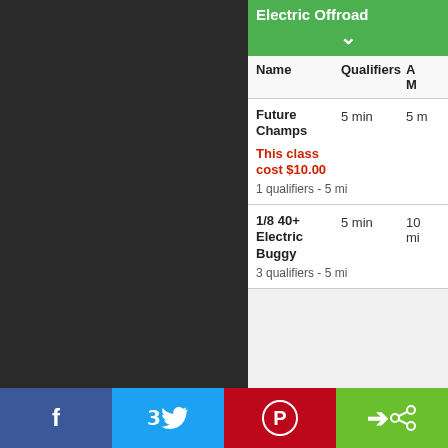Electric Offroad
| Name | Qualifiers | A M... |
| --- | --- | --- |
| Future Champs | 5 min | 5 m... |
| This class cost $10.00 | 1 qualifiers - 5 mi... |  |
| 1/8 40+ Electric Buggy | 5 min | 10 mi... |
|  | 3 qualifiers - 5 mi... |  |
f  [twitter]  [pinterest]  [share]